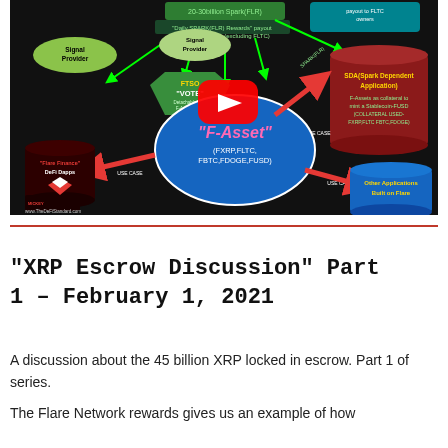[Figure (screenshot): Thumbnail image of a YouTube video about F-Assets on the Flare Network. Shows a diagram with Signal Provider, FTSO VOTE, F-Asset (FXRP,FLTC,FBTC,FDOGE,FUSD), SDA (Spark Dependent Application), Flare Finance DeFi Dapps, and Other Applications Built on Flare, connected by green and red arrows. YouTube play button overlay in center. www.TheDeFiStandard.com watermark at bottom.]
“XRP Escrow Discussion” Part 1 – February 1, 2021
A discussion about the 45 billion XRP locked in escrow. Part 1 of series.
The Flare Network rewards gives us an example of how